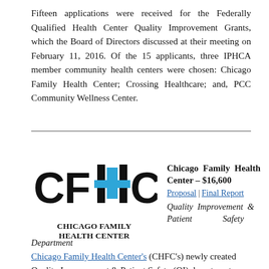Fifteen applications were received for the Federally Qualified Health Center Quality Improvement Grants, which the Board of Directors discussed at their meeting on February 11, 2016. Of the 15 applicants, three IPHCA member community health centers were chosen: Chicago Family Health Center; Crossing Healthcare; and, PCC Community Wellness Center.
[Figure (logo): CFHC Chicago Family Health Center logo — large bold black letters CFHC with a blue cross/plus symbol replacing the H crossbar, and below it the text CHICAGO FAMILY HEALTH CENTER in bold black uppercase.]
Chicago Family Health Center – $16,600
Proposal | Final Report
Quality Improvement & Patient Safety Department
Chicago Family Health Center's (CHFC's) newly created Quality Improvement & Patient Safety (QI) department